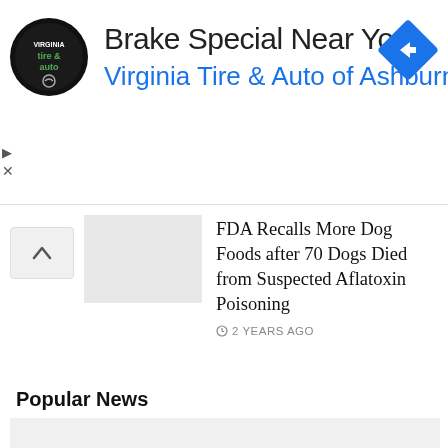[Figure (screenshot): Advertisement banner for Virginia Tire & Auto of Ashburn with circular logo and blue arrow diamond icon]
Brake Special Near You
Virginia Tire & Auto of Ashburn …
FDA Recalls More Dog Foods after 70 Dogs Died from Suspected Aflatoxin Poisoning
2 YEARS AGO
Popular News
[Figure (other): Gray placeholder image block]